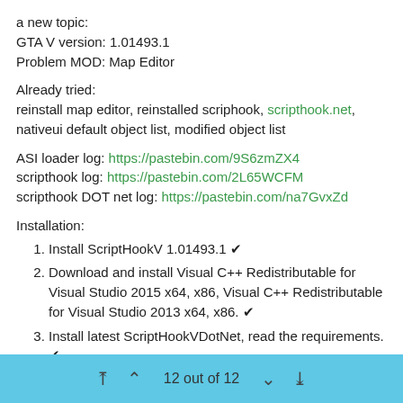a new topic:
GTA V version: 1.01493.1
Problem MOD: Map Editor
Already tried:
reinstall map editor, reinstalled scriphook, scripthook.net, nativeui default object list, modified object list
ASI loader log: https://pastebin.com/9S6zmZX4
scripthook log: https://pastebin.com/2L65WCFM
scripthook DOT net log: https://pastebin.com/na7GvxZd
Installation:
Install ScriptHookV 1.01493.1 ✔
Download and install Visual C++ Redistributable for Visual Studio 2015 x64, x86, Visual C++ Redistributable for Visual Studio 2013 x64, x86. ✔
Install latest ScriptHookVDotNet, read the requirements. ✔
Download last NativeUI version from here. ✔
Move all contents of the .zip into your /scripts/ directory. If it doesn't exist, create one. ✔
12 out of 12